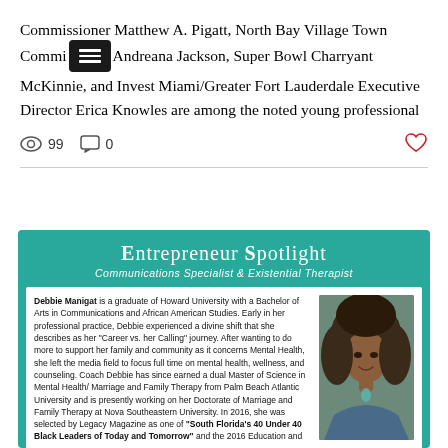Commissioner Matthew A. Pigatt, North Bay Village Town Commissioner Andreana Jackson, Super Bowl Champion Bryant McKinnie, and Invest Miami/Greater Fort Lauderdale Executive Director Erica Knowles are among the noted young professional
99 views   0 comments   heart
[Figure (infographic): Entrepreneur Spotlight card with teal background. Title: ENTREPRENEUR SPOTLIGHT. Subtitle: Communications Specialist & Existential Therapist. Body text about Debbie Manigat alongside a photo of a smiling woman with curly hair.]